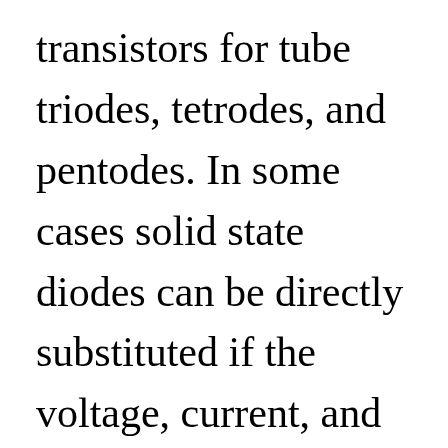transistors for tube triodes, tetrodes, and pentodes. In some cases solid state diodes can be directly substituted if the voltage, current, and power handling...